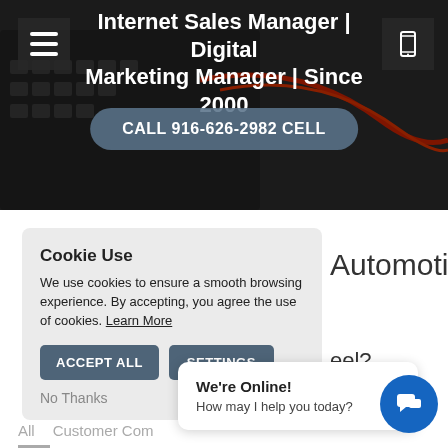[Figure (screenshot): Hero section of a website showing a dark laptop keyboard background image with a hamburger menu icon top-left, phone icon top-right, bold white text reading 'Internet Sales Manager | Digital Marketing Manager | Since 2000', and a rounded button reading 'CALL 916-626-2982 CELL']
Internet Sales Manager | Digital Marketing Manager | Since 2000
CALL 916-626-2982 CELL
Cookie Use
We use cookies to ensure a smooth browsing experience. By accepting, you agree the use of cookies. Learn More
ACCEPT ALL
SETTINGS
No Thanks
Automotive
eel?
We're Online!
How may I help you today?
All   Customer Com